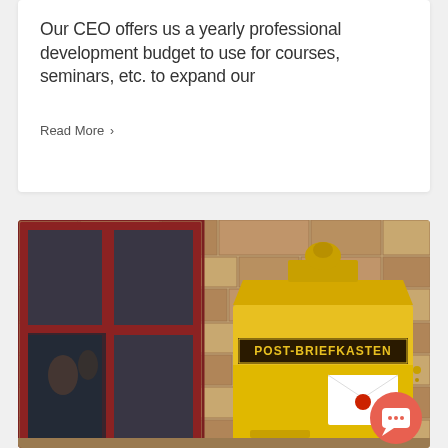Our CEO offers us a yearly professional development budget to use for courses, seminars, etc. to expand our
Read More >
[Figure (photo): A yellow vintage German post mailbox (POST-BRIEFKASTEN) mounted against a stone wall next to a dark red window frame. The mailbox has a letter envelope icon on the front. A chat button overlay (salmon/red circle with speech bubble icon) appears in the bottom right corner.]